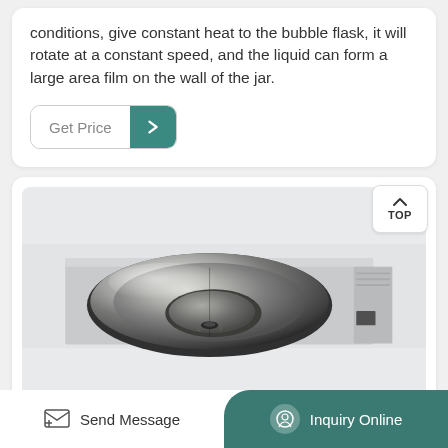conditions, give constant heat to the bubble flask, it will rotate at a constant speed, and the liquid can form a large area film on the wall of the jar.
Get Price
[Figure (photo): Top-view photo of a rotary evaporator water bath - a stainless steel circular bowl set into a square metal base unit, viewed from above showing the reflective interior of the bowl]
TOP
Send Message
Inquiry Online